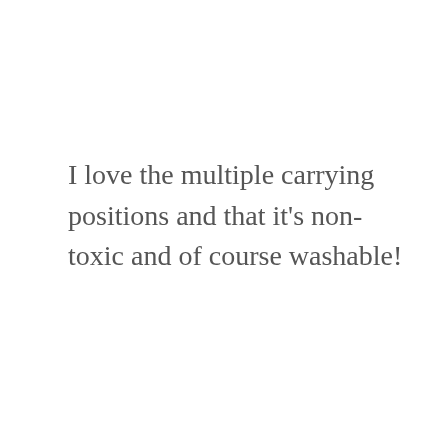I love the multiple carrying positions and that it's non-toxic and of course washable!
Reply
CHARISSA N.
SEPTEMBER 2, 2014 AT 11:27 PM
[Figure (other): Share button icon (circular button with share/network icon)]
[Figure (other): Advertisement bar at bottom: Nola Nesting - Pharmaceutical and lab grade equipment. compromising safety standards. With X and play icons and mute controls.]